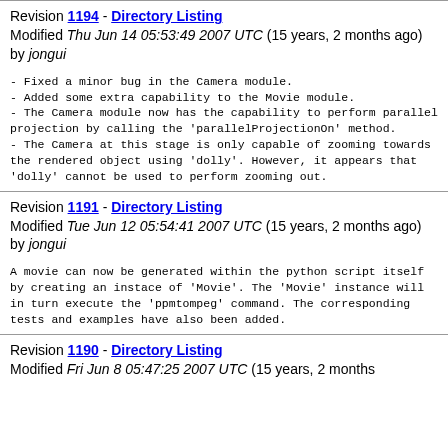Revision 1194 - Directory Listing
Modified Thu Jun 14 05:53:49 2007 UTC (15 years, 2 months ago) by jongui
- Fixed a minor bug in the Camera module.
- Added some extra capability to the Movie module.
- The Camera module now has the capability to perform parallel projection by calling the 'parallelProjectionOn' method.
- The Camera at this stage is only capable of zooming towards the rendered object using 'dolly'. However, it appears that 'dolly' cannot be used to perform zooming out.
Revision 1191 - Directory Listing
Modified Tue Jun 12 05:54:41 2007 UTC (15 years, 2 months ago) by jongui
A movie can now be generated within the python script itself by creating an instace of 'Movie'. The 'Movie' instance will in turn execute the 'ppmtompeg' command. The corresponding tests and examples have also been added.
Revision 1190 - Directory Listing
Modified Fri Jun 8 05:47:25 2007 UTC (15 years, 2 months